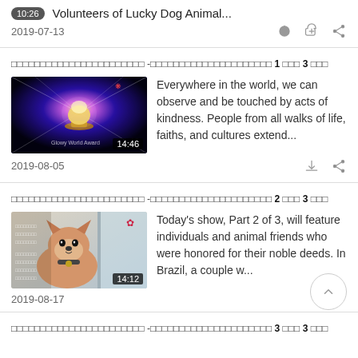10:26  Volunteers of Lucky Dog Animal...
2019-07-13
□□□□□□□□□□□□□□□□□□□□□□□ -□□□□□□□□□□□□□□□□□□□□□ 1 □□□ 3 □□□
[Figure (screenshot): Video thumbnail showing a glowing trophy with cosmic background, duration 14:46]
Everywhere in the world, we can observe and be touched by acts of kindness. People from all walks of life, faiths, and cultures extend...
2019-08-05
□□□□□□□□□□□□□□□□□□□□□□□ -□□□□□□□□□□□□□□□□□□□□□ 2 □□□ 3 □□□
[Figure (screenshot): Video thumbnail showing a Shiba Inu dog, duration 14:12]
Today's show, Part 2 of 3, will feature individuals and animal friends who were honored for their noble deeds. In Brazil, a couple w...
2019-08-17
□□□□□□□□□□□□□□□□□□□□□□□ -□□□□□□□□□□□□□□□□□□□□□ 3 □□□ 3 □□□